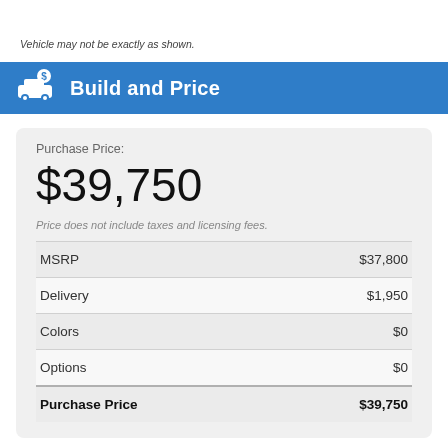Vehicle may not be exactly as shown.
Build and Price
Purchase Price:
$39,750
Price does not include taxes and licensing fees.
|  |  |
| --- | --- |
| MSRP | $37,800 |
| Delivery | $1,950 |
| Colors | $0 |
| Options | $0 |
| Purchase Price | $39,750 |